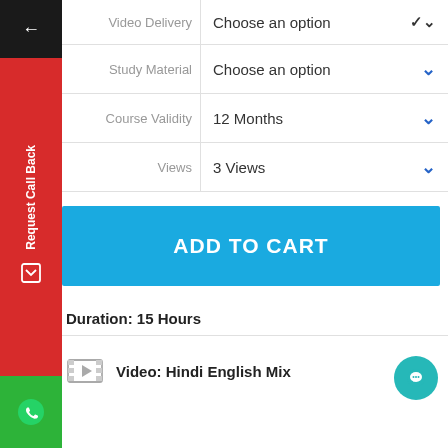| Label | Selection |
| --- | --- |
| Video Delivery | Choose an option |
| Study Material | Choose an option |
| Course Validity | 12 Months |
| Views | 3 Views |
ADD TO CART
Duration: 15 Hours
Video: Hindi English Mix